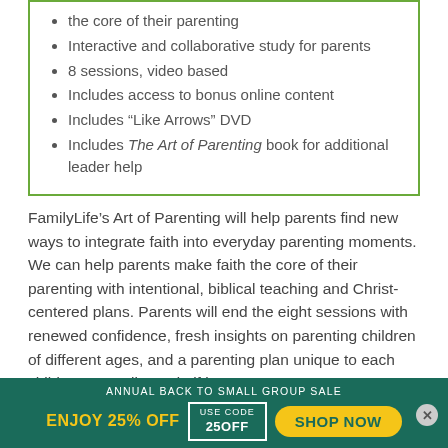the core of their parenting
Interactive and collaborative study for parents
8 sessions, video based
Includes access to bonus online content
Includes “Like Arrows” DVD
Includes The Art of Parenting book for additional leader help
FamilyLife’s Art of Parenting will help parents find new ways to integrate faith into everyday parenting moments. We can help parents make faith the core of their parenting with intentional, biblical teaching and Christ-centered plans. Parents will end the eight sessions with renewed confidence, fresh insights on parenting children of different ages, and a parenting plan unique to each child’s personality and gifting.
ANNUAL BACK TO SMALL GROUP SALE
ENJOY 25% OFF   USE CODE 25OFF   SHOP NOW